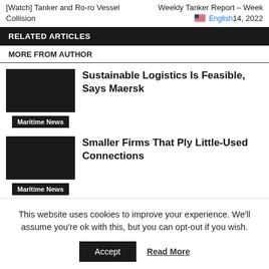[Watch] Tanker and Ro-ro Vessel Collision
Weekly Tanker Report – Week 14, 2022 🇺🇸 English
RELATED ARTICLES
MORE FROM AUTHOR
Sustainable Logistics Is Feasible, Says Maersk
Maritime News
Smaller Firms That Ply Little-Used Connections
Maritime News
This website uses cookies to improve your experience. We'll assume you're ok with this, but you can opt-out if you wish.
Accept
Read More